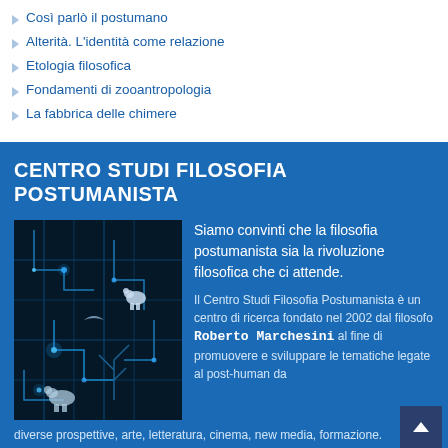Così parlò il postumano
Alterità. L'identità come relazione
Etologia filosofica
Fondamenti di zooantropologia
La fabbrica delle chimere
CENTRO STUDI FILOSOFIA POSTUMANISTA
[Figure (illustration): Dark blue circuit board background with glowing blue lines and silhouettes of animals (polar bears, bird) suggesting a post-human digital nature theme]
Siamo convinti che la filosofia postumanista sia la rivoluzione filosofica che ci attende. Il Centro Studi Filosofia Postumanista è un centro di ricerca fondato nel 2002 dal filosofo Roberto Marchesini al fine di promuovere e sviluppare le tematiche legate al post-human da diverse prospettive, arte, letteratura, cinema, new media, formazione.